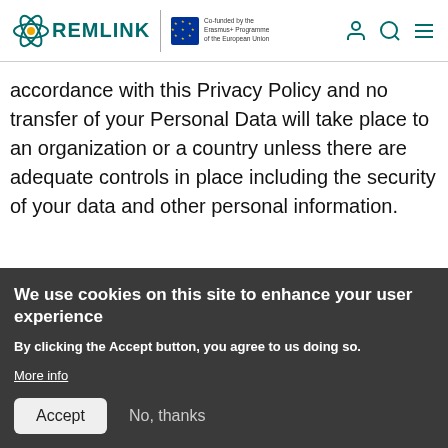[Figure (logo): FOREMLINK logo with atom graphic, EU co-funded badge, and navigation icons]
accordance with this Privacy Policy and no transfer of your Personal Data will take place to an organization or a country unless there are adequate controls in place including the security of your data and other personal information.
We use cookies on this site to enhance your user experience
By clicking the Accept button, you agree to us doing so.
More info
Accept   No, thanks